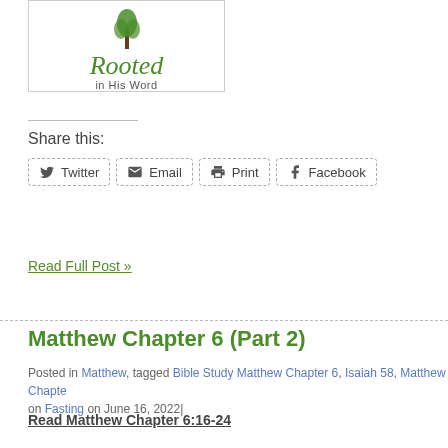[Figure (logo): Rooted in His Word logo — stylized tree with green cursive 'Rooted' and subtitle 'in His Word']
Share this:
Twitter | Email | Print | Facebook
Read Full Post »
Matthew Chapter 6 (Part 2)
Posted in Matthew, tagged Bible Study Matthew Chapter 6, Isaiah 58, Matthew Chapter on Fasting on June 16, 2022|
Read Matthew Chapter 6:16-24